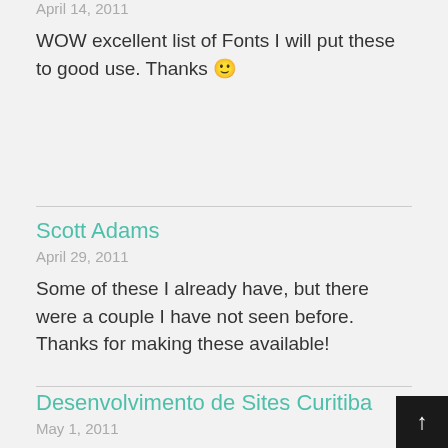April 14, 2011
WOW excellent list of Fonts I will put these to good use. Thanks 🙂
Scott Adams
April 29, 2011
Some of these I already have, but there were a couple I have not seen before. Thanks for making these available!
Desenvolvimento de Sites Curitiba
May 1, 2011